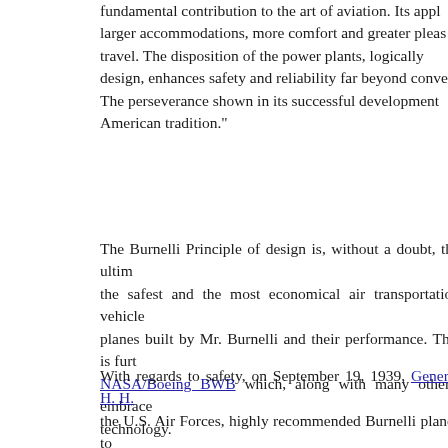fundamental contribution to the art of aviation. Its appl... larger accommodations, more comfort and greater pleas... travel. The disposition of the power plants, logically ... design, enhances safety and reliability far beyond conver... The perseverance shown in its successful development... American tradition."
The Burnelli Principle of design is, without a doubt, the ultim... the safest and the most economical air transportation vehicle... planes built by Mr. Burnelli and their performance. This is furt... NASA/Boeing BWB which, along with many others, embrace... technology.
With regards to safety, on September 19, 1939, General H. H.... the U.S. Air Forces, highly recommended Burnelli planes to... and, regarding safety, stated:
"The [Burnelli] design embodies extremely good facto... considerably higher than the streamlined fuselage type." ... ended his report thusly: "In my opinion, it is essential, i... national defense, that this procurement be authorized."
Have any of the other designs mentioned in your paper received...
The Northrop/Grumman B-2 is not a derivative of Northrop's... but a poor copy of Burnelli's 1940s technology right down...